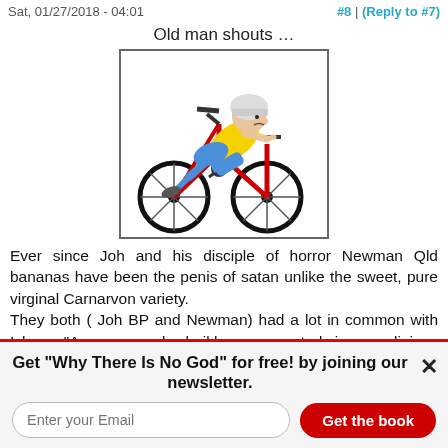Sat, 01/27/2018 - 04:01    #8 | (Reply to #7)
Old man shouts …
[Figure (illustration): Cartoon of an old man in a yellow shirt, blue pants, and white helmet riding a small red bicycle aggressively forward.]
Ever since Joh and his disciple of horror Newman Qld bananas have been the penis of satan unlike the sweet, pure virginal Carnarvon variety.
They both ( Joh BP and Newman) had a lot in common with Islam: "An unnamed sheikh was quoted in a religious publication, el-Senousa News, as saying that if a woman wished to eat cucumbers or bananas, it should be sliced into
Get "Why There Is No God" for free! by joining our newsletter.